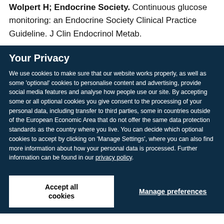Wolpert H; Endocrine Society. Continuous glucose monitoring: an Endocrine Society Clinical Practice Guideline. J Clin Endocrinol Metab.
Your Privacy
We use cookies to make sure that our website works properly, as well as some 'optional' cookies to personalise content and advertising, provide social media features and analyse how people use our site. By accepting some or all optional cookies you give consent to the processing of your personal data, including transfer to third parties, some in countries outside of the European Economic Area that do not offer the same data protection standards as the country where you live. You can decide which optional cookies to accept by clicking on 'Manage Settings', where you can also find more information about how your personal data is processed. Further information can be found in our privacy policy.
Accept all cookies
Manage preferences